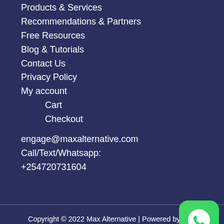Products & Services
Recommendations & Partners
Free Resources
Blog & Tutorials
Contact Us
Privacy Policy
My account
Cart
Checkout
engage@maxalternative.com
Call/Text/Whatsapp:
+254720731604
Copyright © 2022 Max Alternative | Powered by Alternative